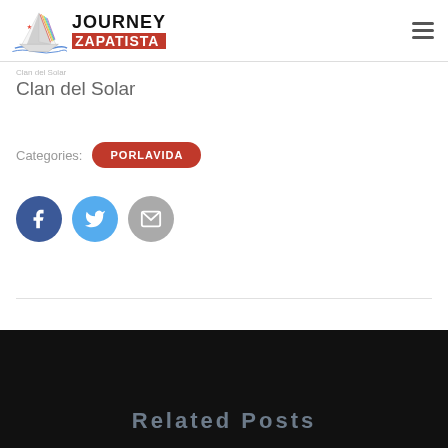Journey Zapatista
Clan del Solar
Categories: PORLAVIDA
[Figure (other): Social share icons: Facebook (blue circle with f), Twitter (light blue circle with bird), Email (grey circle with envelope)]
Related Posts